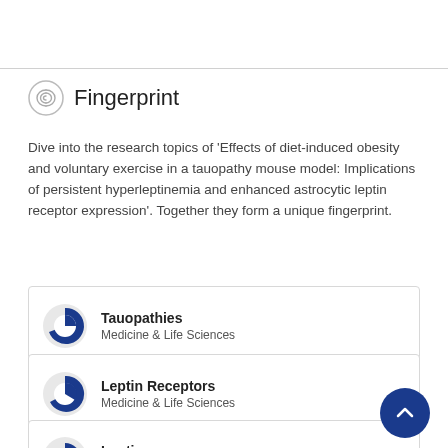Fingerprint
Dive into the research topics of 'Effects of diet-induced obesity and voluntary exercise in a tauopathy mouse model: Implications of persistent hyperleptinemia and enhanced astrocytic leptin receptor expression'. Together they form a unique fingerprint.
Tauopathies — Medicine & Life Sciences
Leptin Receptors — Medicine & Life Sciences
Leptin — Medicine & Life Sciences